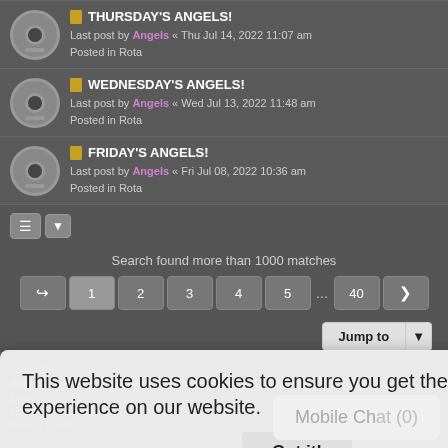THURSDAY'S ANGELS! Last post by Angels « Thu Jul 14, 2022 11:07 am Posted in Rota
WEDNESDAY'S ANGELS! Last post by Angels « Wed Jul 13, 2022 11:48 am Posted in Rota
FRIDAY'S ANGELS! Last post by Angels « Fri Jul 08, 2022 10:36 am Posted in Rota
Search found more than 1000 matches
Pagination: 1 2 3 4 5 ... 40
Jump to
This website uses cookies to ensure you get the best experience on our website.
Got it!
Mobile Chat (0)